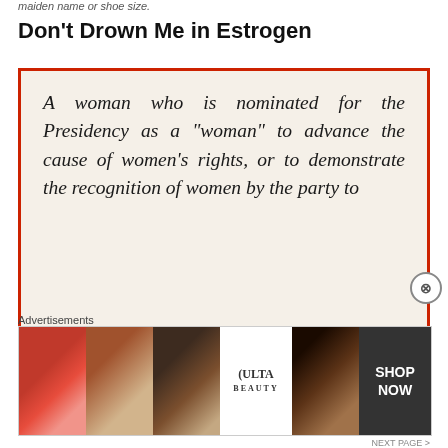maiden name or shoe size.
Don't Drown Me in Estrogen
[Figure (photo): A vintage-style typeset quote in italic serif font on a cream background with a red border: 'A woman who is nominated for the Presidency as a "woman" to advance the cause of women's rights, or to demonstrate the recogni-tion of women by the party to']
Advertisements
[Figure (photo): Ulta Beauty advertisement banner showing beauty product imagery including lips with lipstick, makeup brush, eye with eyeshadow, Ulta logo, dramatic eye makeup, and SHOP NOW button]